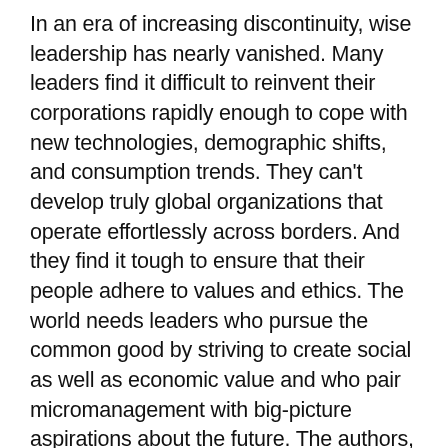In an era of increasing discontinuity, wise leadership has nearly vanished. Many leaders find it difficult to reinvent their corporations rapidly enough to cope with new technologies, demographic shifts, and consumption trends. They can't develop truly global organizations that operate effortlessly across borders. And they find it tough to ensure that their people adhere to values and ethics. The world needs leaders who pursue the common good by striving to create social as well as economic value and who pair micromanagement with big-picture aspirations about the future. The authors, who have studied, taught, and interviewed executives in some of the world's leading companies, assert that such leaders must acquire practical wisdom, or what Aristotle called phronesis: experiential knowledge that enables people to make ethically sound judgments. Wise leaders demonstrate six abilities. They make decisions on the basis of what is good for the organization and for society. They